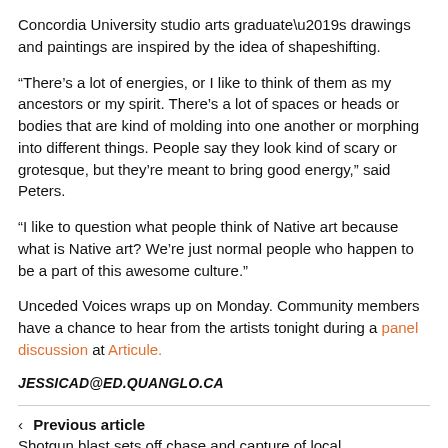Concordia University studio arts graduate’s drawings and paintings are inspired by the idea of shapeshifting.
“There’s a lot of energies, or I like to think of them as my ancestors or my spirit. There’s a lot of spaces or heads or bodies that are kind of molding into one another or morphing into different things. People say they look kind of scary or grotesque, but they’re meant to bring good energy,” said Peters.
“I like to question what people think of Native art because what is Native art? We’re just normal people who happen to be a part of this awesome culture.”
Unceded Voices wraps up on Monday. Community members have a chance to hear from the artists tonight during a panel discussion at Articule.
JESSICAD@ED.QUANGLO.CA
< Previous article
Shotgun blast sets off chase and capture of local